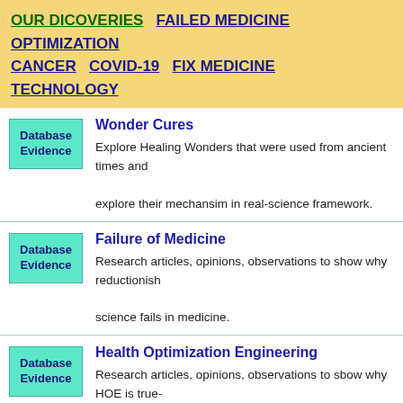OUR DICOVERIES   FAILED MEDICINE   OPTIMIZATION   CANCER   COVID-19   FIX MEDICINE   TECHNOLOGY
Wonder Cures — Explore Healing Wonders that were used from ancient times and explore their mechansim in real-science framework.
Failure of Medicine — Research articles, opinions, observations to show why reductionish science fails in medicine.
Health Optimization Engineering — Research articles, opinions, observations to sbow why HOE is true-science based future medicine.
Symptom Registry — Colecting symptoms for various chronic diseases so that the